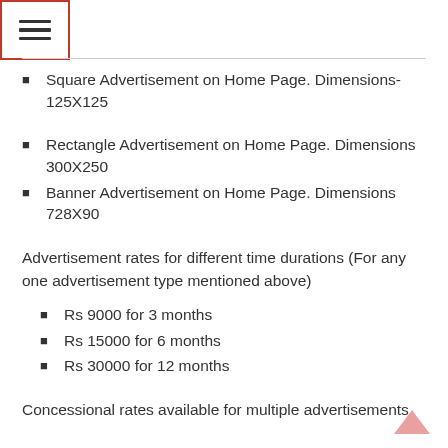[Figure (other): Hamburger menu icon with three horizontal lines inside a red-bordered rectangle]
Square Advertisement on Home Page. Dimensions- 125X125
Rectangle Advertisement on Home Page. Dimensions 300X250
Banner Advertisement on Home Page. Dimensions 728X90
Advertisement rates for different time durations (For any one advertisement type mentioned above)
Rs 9000 for 3 months
Rs 15000 for 6 months
Rs 30000 for 12 months
Concessional rates available for multiple advertisements.